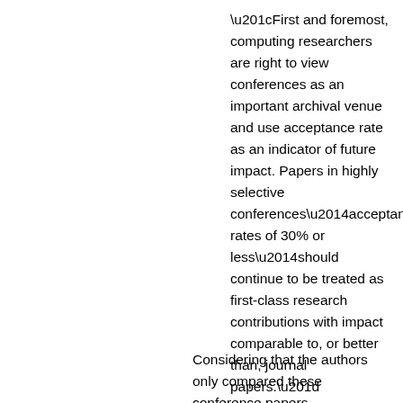“First and foremost, computing researchers are right to view conferences as an important archival venue and use acceptance rate as an indicator of future impact. Papers in highly selective conferences—acceptance rates of 30% or less—should continue to be treated as first-class research contributions with impact comparable to, or better than, journal papers.”
Considering that the authors only compared these conference papers